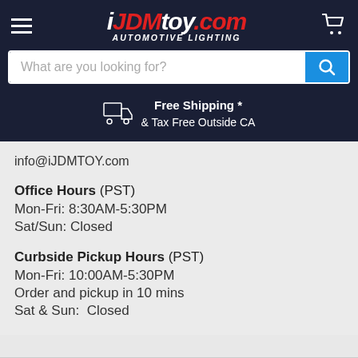[Figure (logo): iJDMTOY.com Automotive Lighting logo with hamburger menu and cart icon on dark navy header]
What are you looking for?
Free Shipping * & Tax Free Outside CA
info@iJDMTOY.com
Office Hours (PST)
Mon-Fri: 8:30AM-5:30PM
Sat/Sun: Closed
Curbside Pickup Hours (PST)
Mon-Fri: 10:00AM-5:30PM
Order and pickup in 10 mins
Sat & Sun: Closed